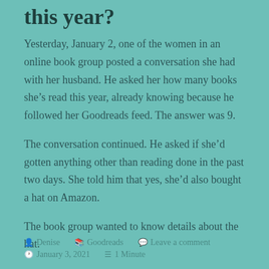this year?
Yesterday, January 2, one of the women in an online book group posted a conversation she had with her husband. He asked her how many books she’s read this year, already knowing because he followed her Goodreads feed. The answer was 9.
The conversation continued. He asked if she’d gotten anything other than reading done in the past two days. She told him that yes, she’d also bought a hat on Amazon.
The book group wanted to know details about the hat.
Denise   Goodreads   Leave a comment
January 3, 2021   1 Minute